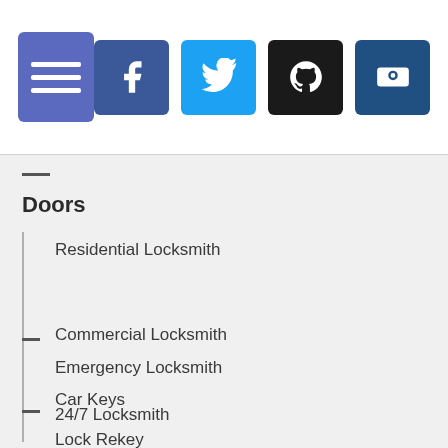Navigation header with menu icon and social icons (Facebook, Twitter, GitHub, Bitbucket)
Doors
Residential Locksmith
Commercial Locksmith
Emergency Locksmith
Car Keys
24/7 Locksmith
Lock Rekey